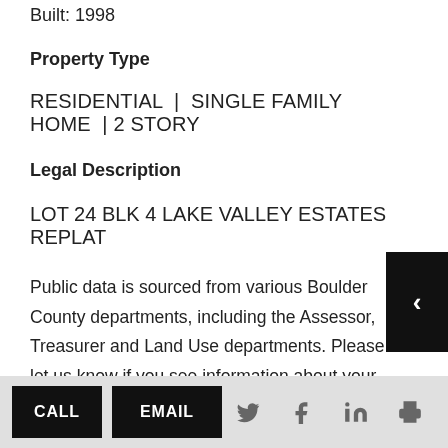Built: 1998
Property Type
RESIDENTIAL  |  SINGLE FAMILY HOME  | 2 STORY
Legal Description
LOT 24 BLK 4 LAKE VALLEY ESTATES REPLAT
Public data is sourced from various Boulder County departments, including the Assessor, Treasurer and Land Use departments. Please let us know if you see information about your home that is outdated or incorrect. All listings are off-market unless otherwise
CALL  EMAIL